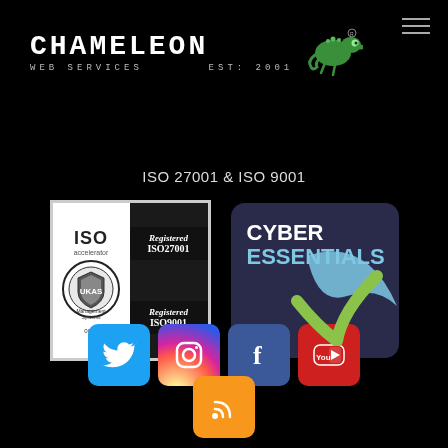[Figure (logo): Chameleon Web Services logo with chameleon icon, EST: 2001, on black background]
ISO 27001 & ISO 9001
[Figure (illustration): ISO accelerator badge showing Registered ISO27001 and Registered ISO9001 certification marks]
[Figure (illustration): Cyber Essentials badge with checkmark on dark blue/purple background]
[Figure (illustration): Social media icons: Twitter, Instagram, Facebook, YouTube, RSS feed]